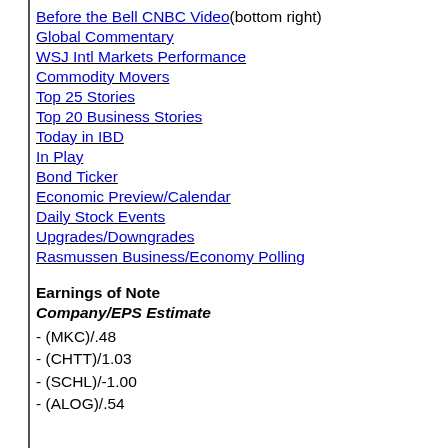Before the Bell CNBC Video(bottom right)
Global Commentary
WSJ Intl Markets Performance
Commodity Movers
Top 25 Stories
Top 20 Business Stories
Today in IBD
In Play
Bond Ticker
Economic Preview/Calendar
Daily Stock Events
Upgrades/Downgrades
Rasmussen Business/Economy Polling
Earnings of Note
Company/EPS Estimate
- (MKC)/.48
- (CHTT)/1.03
- (SCHL)/-1.00
- (ALOG)/.54